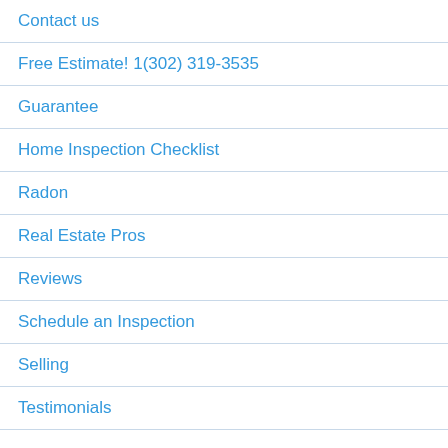Contact us
Free Estimate! 1(302) 319-3535
Guarantee
Home Inspection Checklist
Radon
Real Estate Pros
Reviews
Schedule an Inspection
Selling
Testimonials